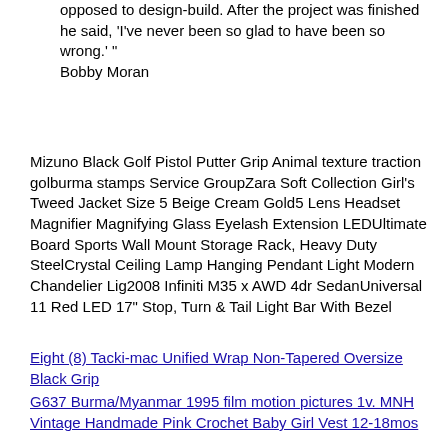opposed to design-build. After the project was finished he said, 'I've never been so glad to have been so wrong.' " Bobby Moran
Mizuno Black Golf Pistol Putter Grip Animal texture traction golburma stamps Service GroupZara Soft Collection Girl's Tweed Jacket Size 5 Beige Cream Gold5 Lens Headset Magnifier Magnifying Glass Eyelash Extension LEDUltimate Board Sports Wall Mount Storage Rack, Heavy Duty SteelCrystal Ceiling Lamp Hanging Pendant Light Modern Chandelier Lig2008 Infiniti M35 x AWD 4dr SedanUniversal 11 Red LED 17" Stop, Turn & Tail Light Bar With Bezel
Eight (8) Tacki-mac Unified Wrap Non-Tapered Oversize Black Grip
G637 Burma/Myanmar 1995 film motion pictures 1v. MNH
Vintage Handmade Pink Crochet Baby Girl Vest 12-18mos
Mary Kay brush cleaner 6 fl oz. suitable for sensitive skin test
Mercedes Benz GLE roof Cross Bars and Ski/Snowboard Rack
Amingulry Cordless Table Lamp, Rechargeable Battery Operated Lam
2019 INFINITI Q60 RED SPORT 400 ProactivePkg